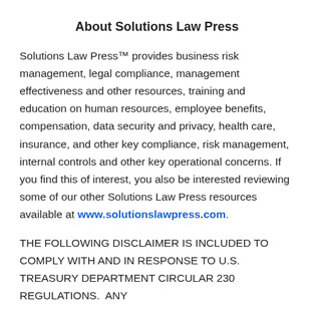About Solutions Law Press
Solutions Law Press™ provides business risk management, legal compliance, management effectiveness and other resources, training and education on human resources, employee benefits, compensation, data security and privacy, health care, insurance, and other key compliance, risk management, internal controls and other key operational concerns. If you find this of interest, you also be interested reviewing some of our other Solutions Law Press resources available at www.solutionslawpress.com.
THE FOLLOWING DISCLAIMER IS INCLUDED TO COMPLY WITH AND IN RESPONSE TO U.S. TREASURY DEPARTMENT CIRCULAR 230 REGULATIONS.  ANY